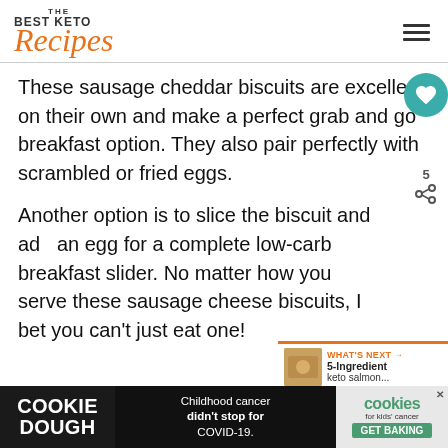THE BEST KETO Recipes
These sausage cheddar biscuits are excellent on their own and make a perfect grab and go breakfast option. They also pair perfectly with scrambled or fried eggs.
Another option is to slice the biscuit and add an egg for a complete low-carb breakfast slider. No matter how you serve these sausage cheese biscuits, I bet you can't just eat one!
[Figure (other): Social share icons: heart button (teal) and share icon with count of 5]
[Figure (other): What's Next panel: 5-Ingredient keto salmon thumbnail with orange header bar]
[Figure (other): Cookie Dough advertisement banner: Childhood cancer didn't stop for COVID-19. GET BAKING. cookies for kids cancer.]